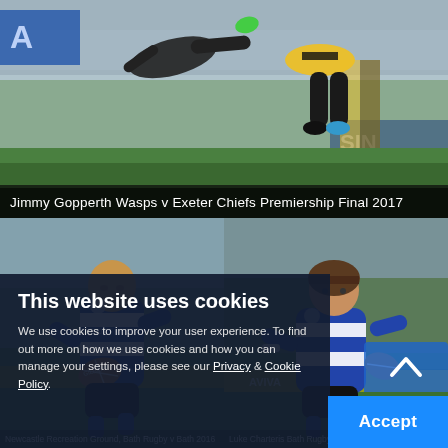[Figure (photo): Rugby action shot: Jimmy Gopperth of Wasps diving/tackling during Wasps v Exeter Chiefs Premiership Final 2017. Players mid-air, yellow and black Wasps kit visible, green field and crowd in background.]
Jimmy Gopperth Wasps v Exeter Chiefs Premiership Final 2017
[Figure (photo): Rugby player in Bath RFC blue and white striped kit (Jonathan Joseph) running with ball at Newcastle Recreation Ground, Bath Rugby v Bath Premiership 2016.]
[Figure (photo): Rugby player in Bath RFC blue and white striped kit with headgear running with ball, Luke Charteris Bath Rugby Premiership 2016.]
Newcastle Recreation Ground, Bath Rugby v Bath 2016
Luke Charteris Bath Rugby Premiership 2016
This website uses cookies
We use cookies to improve your user experience. To find out more on how we use cookies and how you can manage your settings, please see our Privacy & Cookie Policy.